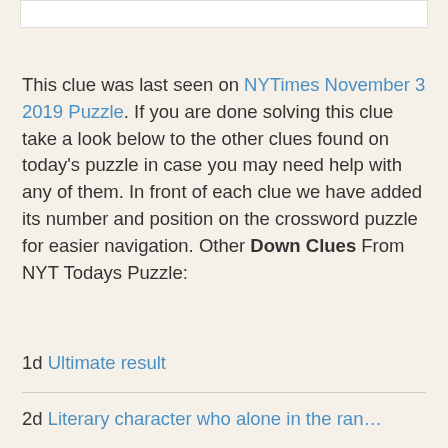[Figure (other): White rectangular box at top of page]
This clue was last seen on NYTimes November 3 2019 Puzzle. If you are done solving this clue take a look below to the other clues found on today's puzzle in case you may need help with any of them. In front of each clue we have added its number and position on the crossword puzzle for easier navigation. Other Down Clues From NYT Todays Puzzle:
1d Ultimate result
2d Literary character who alone in the ran...